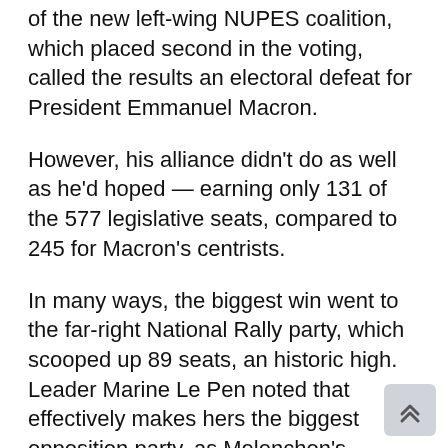of the new left-wing NUPES coalition, which placed second in the voting, called the results an electoral defeat for President Emmanuel Macron.
However, his alliance didn't do as well as he'd hoped — earning only 131 of the 577 legislative seats, compared to 245 for Macron's centrists.
In many ways, the biggest win went to the far-right National Rally party, which scooped up 89 seats, an historic high. Leader Marine Le Pen noted that effectively makes hers the biggest opposition party, as Melenchon's NUPES